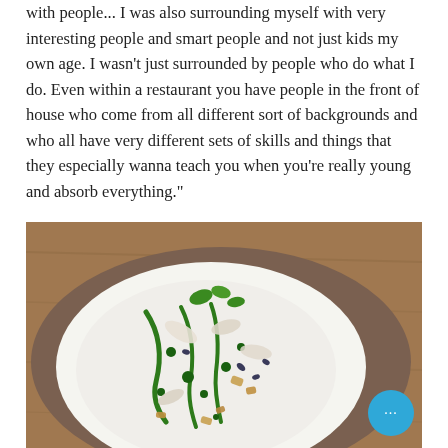with people... I was also surrounding myself with very interesting people and smart people and not just kids my own age. I wasn't just surrounded by people who do what I do. Even within a restaurant you have people in the front of house who come from all different sort of backgrounds and who all have very different sets of skills and things that they especially wanna teach you when you're really young and absorb everything.”
[Figure (photo): A close-up overhead photo of a gourmet dish served in a round brown ceramic bowl. The dish features white cream or sauce drizzled with vibrant green herb oil in swooping lines and dots, garnished with various ingredients including seafood, greens, and crunchy toppings. The bowl sits on a wooden surface. A blue circular chat button with three dots is visible in the bottom-right corner.]